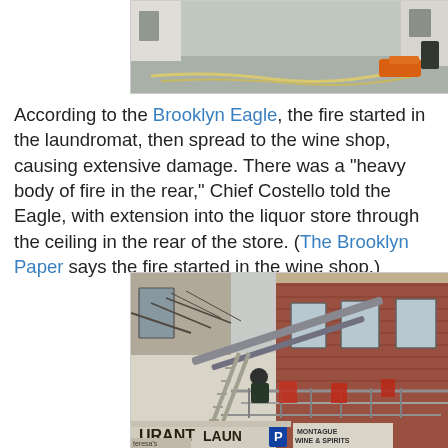[Figure (photo): Street scene showing fire hoses on the ground near a building, with emergency equipment visible in the background.]
According to the Brooklyn Eagle, the fire started in the laundromat, then spread to the wine shop, causing extensive damage. There was a “heavy body of fire in the rear,” Chief Costello told the Eagle, with extension into the liquor store through the ceiling in the rear of the store. (The Brooklyn Paper says the fire started in the wine shop.)
[Figure (photo): Firefighters on an aerial ladder working on a red-brick building facade. Store signs visible at ground level including 'URANT', 'LAUN', 'MONTAGUE WINE & SPIRITS', and a parking sign.]